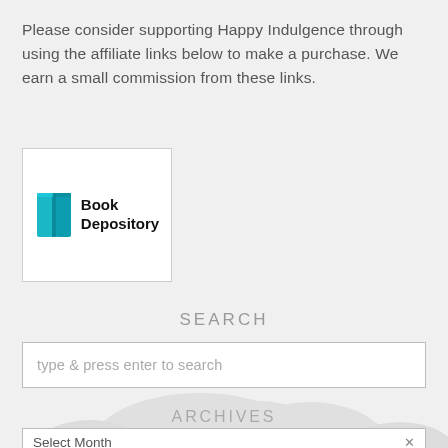Please consider supporting Happy Indulgence through using the affiliate links below to make a purchase. We earn a small commission from these links.
[Figure (logo): Book Depository logo: teal open book icon next to bold text reading 'Book Depository']
SEARCH
type & press enter to search
ARCHIVES
Select Month